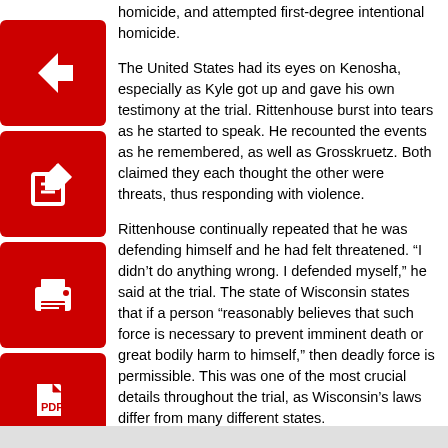homicide, and attempted first-degree intentional homicide.
[Figure (other): Red square icon with white left arrow (back/navigation button)]
[Figure (other): Red square icon with white pencil/edit symbol]
[Figure (other): Red square icon with white printer symbol]
[Figure (other): Red square icon with white PDF document symbol]
The United States had its eyes on Kenosha, especially as Kyle got up and gave his own testimony at the trial. Rittenhouse burst into tears as he started to speak. He recounted the events as he remembered, as well as Grosskruetz. Both claimed they each thought the other were threats, thus responding with violence.
Rittenhouse continually repeated that he was defending himself and he had felt threatened. “I didn’t do anything wrong. I defended myself,” he said at the trial. The state of Wisconsin states that if a person “reasonably believes that such force is necessary to prevent imminent death or great bodily harm to himself,” then deadly force is permissible. This was one of the most crucial details throughout the trial, as Wisconsin’s laws differ from many different states.
Peaceful protests occurred across many different states after the trial. Although the trial has officially ended, many people continue to question self defense laws in their communities.